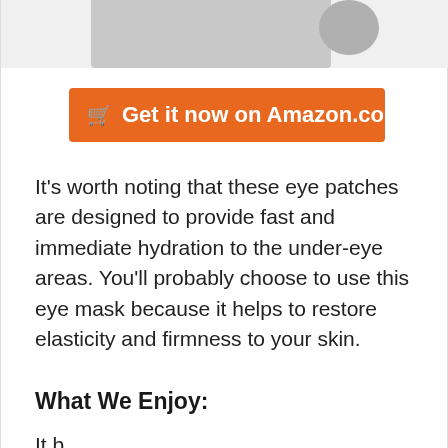[Figure (photo): Partial product image showing top portion of eye patch product, cut off at top of page]
🛒 Get it now on Amazon.com
It's worth noting that these eye patches are designed to provide fast and immediate hydration to the under-eye areas. You'll probably choose to use this eye mask because it helps to restore elasticity and firmness to your skin.
What We Enjoy:
It b...